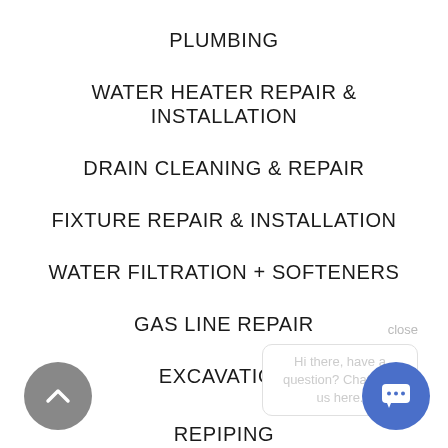PLUMBING
WATER HEATER REPAIR & INSTALLATION
DRAIN CLEANING & REPAIR
FIXTURE REPAIR & INSTALLATION
WATER FILTRATION + SOFTENERS
GAS LINE REPAIR
EXCAVATION
REPIPING